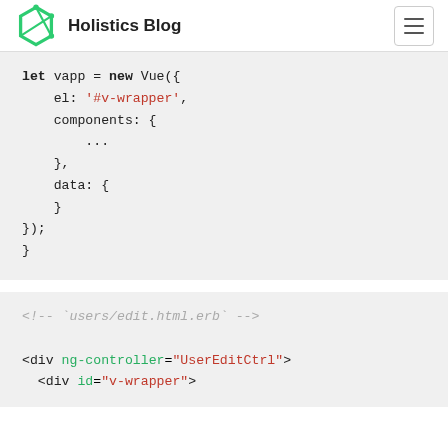Holistics Blog
[Figure (screenshot): Code block showing JavaScript: let vapp = new Vue({ el: '#v-wrapper', components: { ... }, data: { } });]
[Figure (screenshot): Code block showing HTML comment <!-- `users/edit.html.erb` --> followed by <div ng-controller="UserEditCtrl"> and <div id="v-wrapper">]